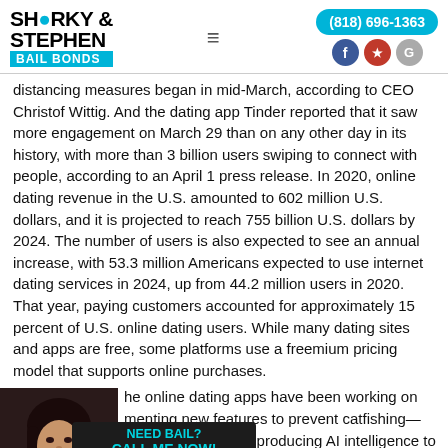Sharky & Stephen Bail Bonds | (818) 696-1363
distancing measures began in mid-March, according to CEO Christof Wittig. And the dating app Tinder reported that it saw more engagement on March 29 than on any other day in its history, with more than 3 billion users swiping to connect with people, according to an April 1 press release. In 2020, online dating revenue in the U.S. amounted to 602 million U.S. dollars, and it is projected to reach 755 billion U.S. dollars by 2024. The number of users is also expected to see an annual increase, with 53.3 million Americans expected to use internet dating services in 2024, up from 44.2 million users in 2020. That year, paying customers accounted for approximately 15 percent of U.S. online dating users. While many dating sites and apps are free, some platforms use a freemium pricing model that supports online purchases.
he online dating apps have been working on menting new features to prevent catfishing—other nies are even producing AI intelligence to fend against
[Figure (photo): Woman with dark hair, portrait photo on dark background, positioned at bottom left with CTA overlay showing NEED BAIL? CALL ME NOW! (818) 696-1363]
and its frequency of use are